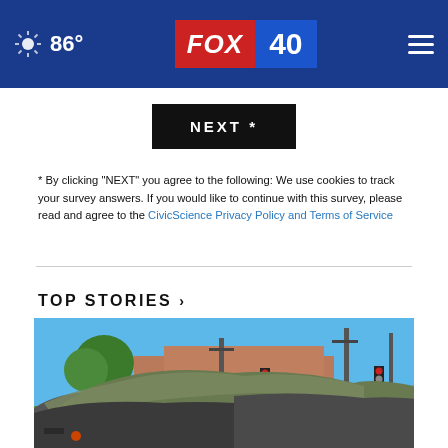86° FOX 40
NEXT *
* By clicking "NEXT" you agree to the following: We use cookies to track your survey answers. If you would like to continue with this survey, please read and agree to the CivicScience Privacy Policy and Terms of Service
TOP STORIES ›
[Figure (photo): Photo of a wrecked car with crumpled roof and green fabric visible, taken at an outdoor intersection with trees, utility poles, traffic lights, and parked vehicles visible in the background under blue sky.]